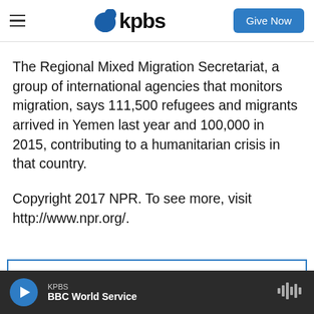KPBS — Give Now
The Regional Mixed Migration Secretariat, a group of international agencies that monitors migration, says 111,500 refugees and migrants arrived in Yemen last year and 100,000 in 2015, contributing to a humanitarian crisis in that country.
Copyright 2017 NPR. To see more, visit http://www.npr.org/.
KPBS — BBC World Service